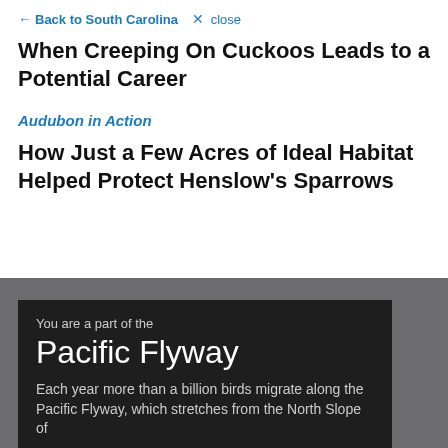News ← Back to South Carolina ✕ close
When Creeping On Cuckoos Leads to a Potential Career
Audubon in Action
How Just a Few Acres of Ideal Habitat Helped Protect Henslow's Sparrows
You are a part of the
Pacific Flyway
Each year more than a billion birds migrate along the Pacific Flyway, which stretches from the North Slope of